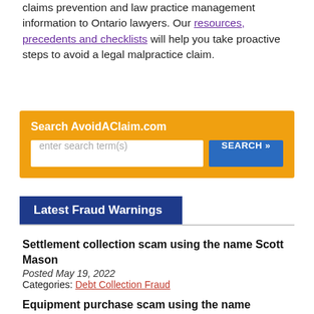claims prevention and law practice management information to Ontario lawyers. Our resources, precedents and checklists will help you take proactive steps to avoid a legal malpractice claim.
[Figure (other): Search AvoidAClaim.com widget with orange background, text input field with placeholder 'enter search term(s)' and a blue SEARCH button]
Latest Fraud Warnings
Settlement collection scam using the name Scott Mason
Posted May 19, 2022
Categories: Debt Collection Fraud
Equipment purchase scam using the name Fredrick Wright
Posted July 7, 2021
Categories: Equipment / Inventory Purchase Fraud